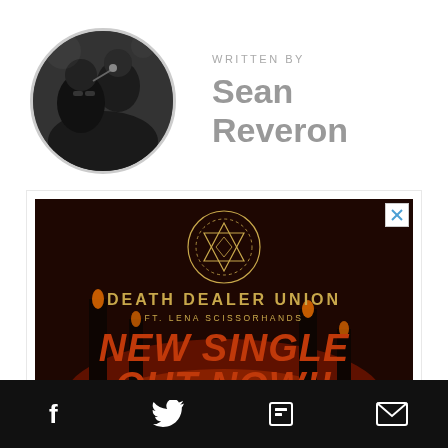[Figure (photo): Circular cropped photo of Sean Reveron performing on stage, singing into a microphone, dark background]
WRITTEN BY
Sean Reveron
[Figure (illustration): Advertisement for Death Dealer Union ft. Lena Scissorhands - New Single Out Now! Dark background with occult symbol, gold and orange text]
[Figure (infographic): Social share bar with Facebook, Twitter, Flipboard, and email icons on black background]